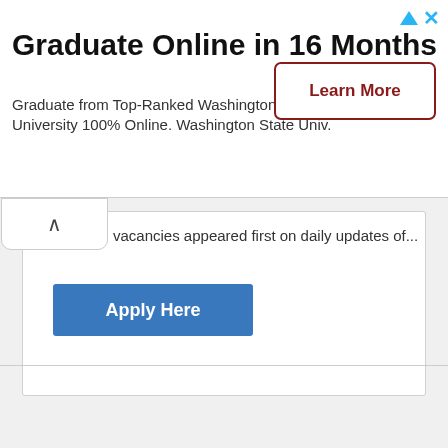Graduate Online in 16 Months
Graduate from Top-Ranked Washington State University 100% Online. Washington State Univ.
Learn More
vacancies appeared first on daily updates of...
Apply Here